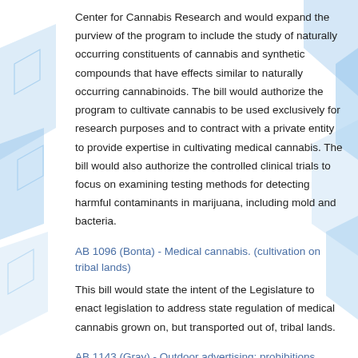Center for Cannabis Research and would expand the purview of the program to include the study of naturally occurring constituents of cannabis and synthetic compounds that have effects similar to naturally occurring cannabinoids. The bill would authorize the program to cultivate cannabis to be used exclusively for research purposes and to contract with a private entity to provide expertise in cultivating medical cannabis. The bill would also authorize the controlled clinical trials to focus on examining testing methods for detecting harmful contaminants in marijuana, including mold and bacteria.
AB 1096 (Bonta) - Medical cannabis. (cultivation on tribal lands)
This bill would state the intent of the Legislature to enact legislation to address state regulation of medical cannabis grown on, but transported out of, tribal lands.
AB 1143 (Gray) - Outdoor advertising: prohibitions.
The Outdoor Advertising Act regulates placement of advertising signs adjacent to and within specified distances of certain highways